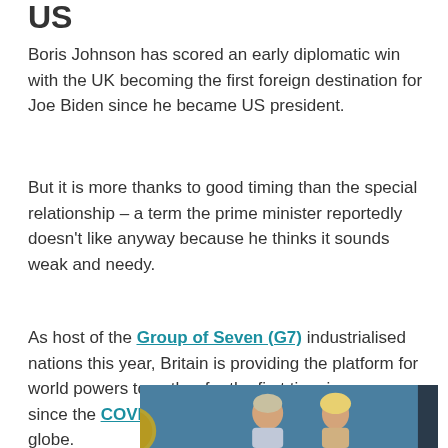US
Boris Johnson has scored an early diplomatic win with the UK becoming the first foreign destination for Joe Biden since he became US president.
But it is more thanks to good timing than the special relationship – a term the prime minister reportedly doesn't like anyway because he thinks it sounds weak and needy.
As host of the Group of Seven (G7) industrialised nations this year, Britain is providing the platform for world powers to gather for the first time in person since the COVID-19 pandemic swept across the globe.
[Figure (photo): Photo of two people, likely Biden and companion, smiling at the top of aircraft steps with blue background]